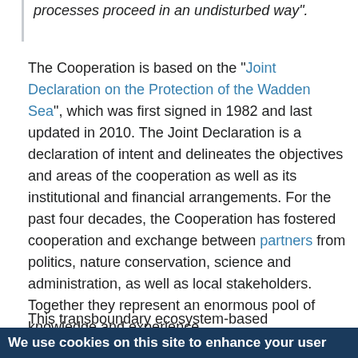processes proceed in an undisturbed way".
The Cooperation is based on the “Joint Declaration on the Protection of the Wadden Sea”, which was first signed in 1982 and last updated in 2010. The Joint Declaration is a declaration of intent and delineates the objectives and areas of the cooperation as well as its institutional and financial arrangements. For the past four decades, the Cooperation has fostered cooperation and exchange between partners from politics, nature conservation, science and administration, as well as local stakeholders. Together they represent an enormous pool of knowledge and experience.
This transboundary ecosystem-based collaboration was a prerequisite for the designation of the
We use cookies on this site to enhance your user